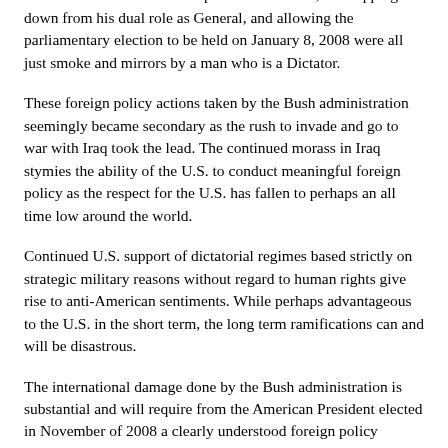constitutionality of his reelection as President. His recent lifting of the marshal law he had imposed on Pakistan, his stepping down from his dual role as General, and allowing the parliamentary election to be held on January 8, 2008 were all just smoke and mirrors by a man who is a Dictator.
These foreign policy actions taken by the Bush administration seemingly became secondary as the rush to invade and go to war with Iraq took the lead. The continued morass in Iraq stymies the ability of the U.S. to conduct meaningful foreign policy as the respect for the U.S. has fallen to perhaps an all time low around the world.
Continued U.S. support of dictatorial regimes based strictly on strategic military reasons without regard to human rights give rise to anti-American sentiments. While perhaps advantageous to the U.S. in the short term, the long term ramifications can and will be disastrous.
The international damage done by the Bush administration is substantial and will require from the American President elected in November of 2008 a clearly understood foreign policy focused on human rights.